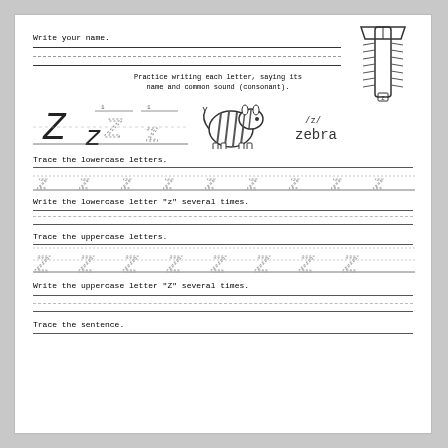Write your name.
Practice writing each letter, saying its name and common sound (consonant).
[Figure (illustration): Zipper illustration in black and white, showing the letter Z]
[Figure (illustration): Cursive and printed uppercase Z and lowercase z letter examples with numbered stroke guides, plus a zebra cartoon image and '/z/ zebra' label]
Trace the lowercase letters.
[Figure (illustration): Dotted lowercase cursive z letters in a row on lined paper for tracing]
Write the lowercase letter "z" several times.
Trace the uppercase letters.
[Figure (illustration): Dotted uppercase cursive Z letters in a row on lined paper for tracing]
Write the uppercase letter "Z" several times.
Trace the sentence.